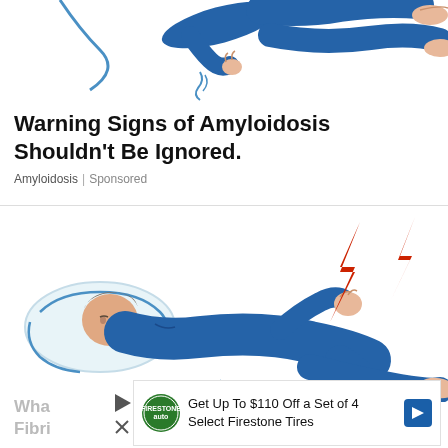[Figure (illustration): Top portion of illustration showing a person in blue pajamas floating/sleeping, with bare feet visible, on white background]
Warning Signs of Amyloidosis Shouldn't Be Ignored.
Amyloidosis | Sponsored
[Figure (illustration): Illustration of a person in blue pajamas lying on a pillow, experiencing leg/foot pain shown by red lightning bolt symbols near the feet]
Get Up To $110 Off a Set of 4 Select Firestone Tires